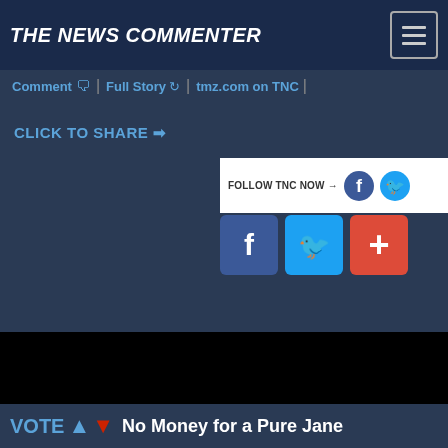THE NEWS COMMENTER
Comment | Full Story | tmz.com on TNC |
CLICK TO SHARE ➡
[Figure (screenshot): Follow TNC Now social banner with Facebook and Twitter icons, and share buttons for Facebook, Twitter, and Google+]
VOTE ↑ ↓ No Money for a Pure Jane